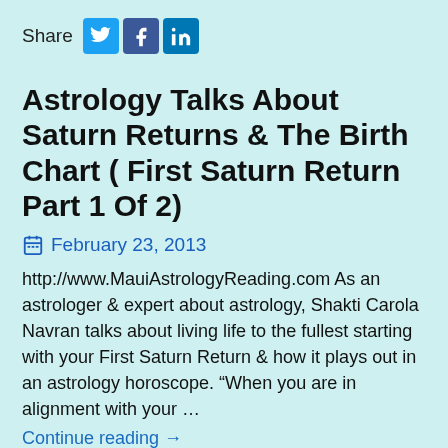[Figure (infographic): Share bar with Twitter, Facebook, and LinkedIn social media icons]
Astrology Talks About Saturn Returns & The Birth Chart ( First Saturn Return Part 1 Of 2)
February 23, 2013
http://www.MauiAstrologyReading.com As an astrologer & expert about astrology, Shakti Carola Navran talks about living life to the fullest starting with your First Saturn Return & how it plays out in an astrology horoscope. “When you are in alignment with your …
Continue reading →